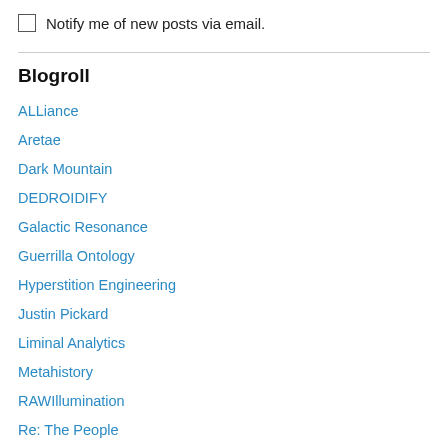Notify me of new posts via email.
Blogroll
ALLiance
Aretae
Dark Mountain
DEDROIDIFY
Galactic Resonance
Guerrilla Ontology
Hyperstition Engineering
Justin Pickard
Liminal Analytics
Metahistory
RAWIllumination
Re: The People
Ribbon Farm
Secret Sun
Shift